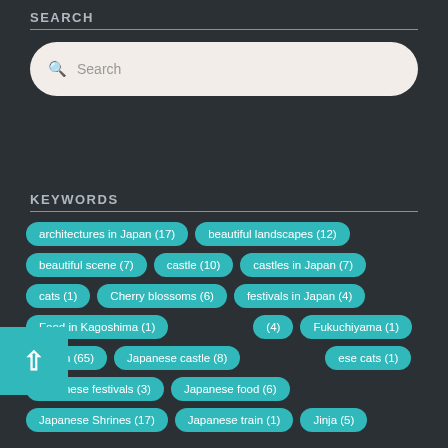SEARCH
Search
KEYWORDS
architectures in Japan (17)
beautiful landscapes (12)
beautiful scene (7)
castle (10)
castles in Japan (7)
cats (1)
Cherry blossoms (6)
festivals in Japan (4)
Food in Kagoshima (1)
(4)
Fukuchiyama (1)
Japan (65)
Japanese castle (8)
ese cats (1)
Japanese festivals (3)
Japanese food (6)
Japanese Shrines (17)
Japanese train (1)
Jinja (5)